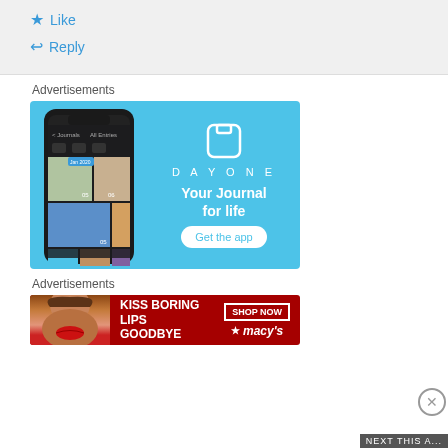★ Like
↩ Reply
Advertisements
[Figure (screenshot): DayOne app advertisement on light blue background showing smartphone with journal app screenshots. Right side shows DayOne logo, tagline 'Your Journal for life', and 'Get the app' button.]
Advertisements
[Figure (screenshot): Macy's advertisement with dark red background showing 'KISS BORING LIPS GOODBYE' text, woman's face with red lipstick, and 'SHOP NOW' button with Macy's star logo.]